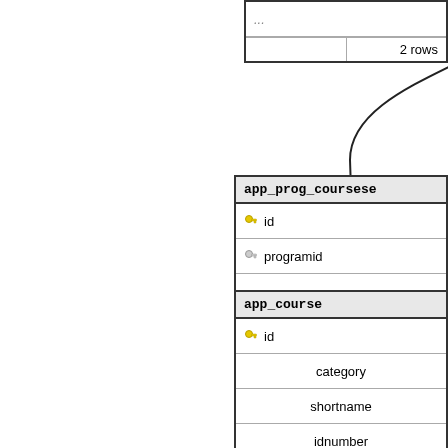[Figure (engineering-diagram): Database schema diagram showing partial tables: top-right partial table with '...' and '2 rows', app_prog_coursese table with id (primary key) and programid (foreign key) fields showing '...' and '< 1 / 0 rows', and app_course table with id (primary key), category, shortname, idnumber fields showing '...' and '1 row'. A relationship line connects the tables with a crow's foot notation (one-to-many).]